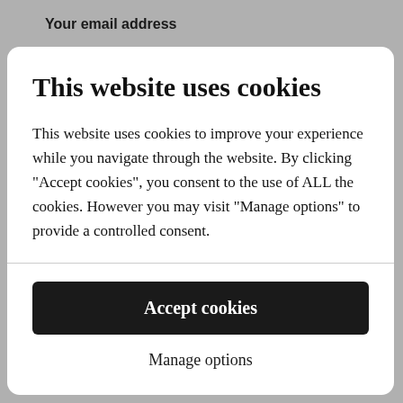Your email address
This website uses cookies
This website uses cookies to improve your experience while you navigate through the website. By clicking "Accept cookies", you consent to the use of ALL the cookies. However you may visit "Manage options" to provide a controlled consent.
Accept cookies
Manage options